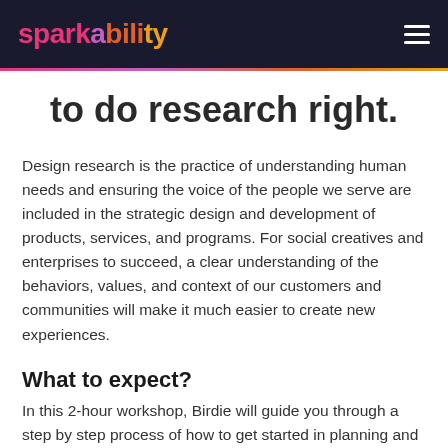sparkability
to do research right.
Design research is the practice of understanding human needs and ensuring the voice of the people we serve are included in the strategic design and development of products, services, and programs. For social creatives and enterprises to succeed, a clear understanding of the behaviors, values, and context of our customers and communities will make it much easier to create new experiences.
What to expect?
In this 2-hour workshop, Birdie will guide you through a step by step process of how to get started in planning and